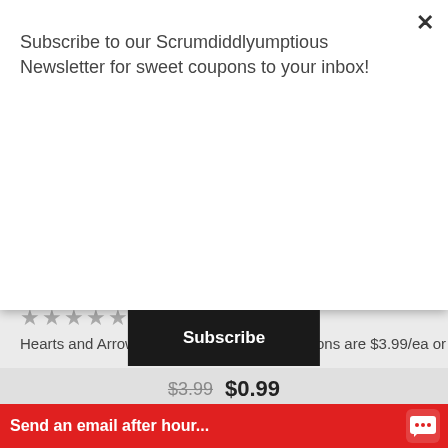Subscribe to our Scrumdiddlyumptious Newsletter for sweet coupons to your inbox!
Subscribe
[Figure (other): Star rating row showing 5 gray stars]
Hearts and Arrows red and black Latex Balloons are $3.99/ea or $39.95/doz
$3.99  $0.99
SELECT OPTIONS
[Figure (photo): Colorful balloons including 'it's a girl' and 'It's a boy' balloons in pink, green, orange and blue colors]
Send an email after hour...